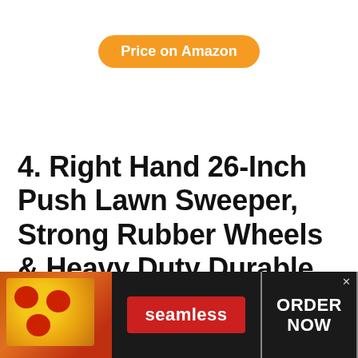Price on Amazon
4. Right Hand 26-Inch Push Lawn Sweeper, Strong Rubber Wheels & Heavy Duty Durable Steel Structure Sweeps Leaf Grass & More, 7ft Mesh Collection Bag, 4 Spinning...
[Figure (infographic): Seamless food delivery advertisement banner at the bottom of the page, with pizza image on the left, red Seamless button in the center, and ORDER NOW button in a dark box on the right.]